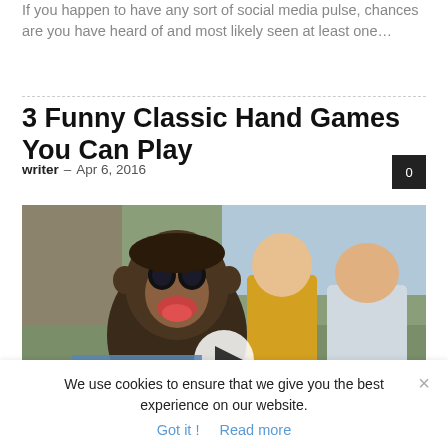If you happen to have any sort of social media pulse, chances are you have heard of and most likely seen at least one…
3 Funny Classic Hand Games You Can Play
writer · Apr 6, 2016
[Figure (photo): Video thumbnail showing a chimpanzee with tongue out alongside two boys, with a play button overlay in the center]
We use cookies to ensure that we give you the best experience on our website.
Got it !   Read more